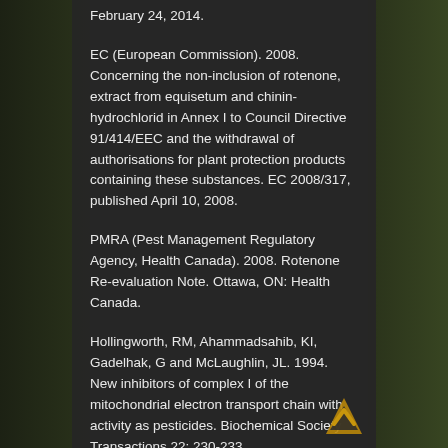February 24, 2014.
EC (European Commission). 2008. Concerning the non-inclusion of rotenone, extract from equisetum and chinin-hydrochlorid in Annex I to Council Directive 91/414/EEC and the withdrawal of authorisations for plant protection products containing these substances. EC 2008/317, published April 10, 2008.
PMRA (Pest Management Regulatory Agency, Health Canada). 2008. Rotenone Re-evaluation Note. Ottawa, ON: Health Canada.
Hollingworth, RM, Ahammadsahib, KI, Gadelhak, G and McLaughlin, JL. 1994. New inhibitors of complex I of the mitochondrial electron transport chain with activity as pesticides. Biochemical Society Transactions 22: 230-233.